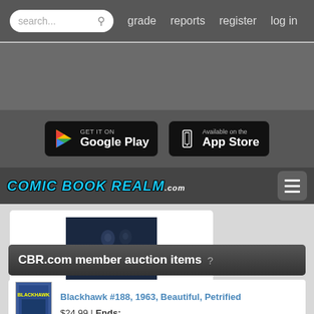search... grade reports register log in
[Figure (screenshot): Gray advertisement banner area]
[Figure (screenshot): GET IT ON Google Play and Available on the App Store buttons]
Comic Book Realm .com — hamburger menu
[Figure (photo): Comic book cover showing dark superhero figures]
CBR.com member auction items ?
Blackhawk #188, 1963, Beautiful, Petrified $24.99 | Ends:
Blackhawk #82, 1954, Nice, Twenty Four H $39.99 | Ends: